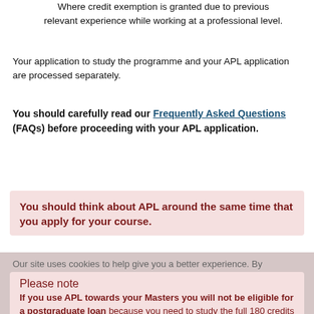Where credit exemption is granted due to previous relevant experience while working at a professional level.
Your application to study the programme and your APL application are processed separately.
You should carefully read our Frequently Asked Questions (FAQs) before proceeding with your APL application.
You should think about APL around the same time that you apply for your course.
Our site uses cookies to help give you a better experience. By continuing to use it you consent to the use of cookies as set out in our privacy policy
Please note
If you use APL towards your Masters you will not be eligible for a postgraduate loan because you need to study the full 180 credits to be eligible for that funding.